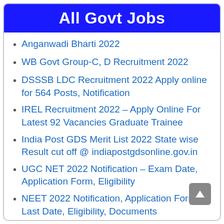All Govt Jobs
Anganwadi Bharti 2022
WB Govt Group-C, D Recruitment 2022
DSSSB LDC Recruitment 2022 Apply online for 564 Posts, Notification
IREL Recruitment 2022 – Apply Online For Latest 92 Vacancies Graduate Trainee
India Post GDS Merit List 2022 State wise Result cut off @ indiapostgdsonline.gov.in
UGC NET 2022 Notification – Exam Date, Application Form, Eligibility
NEET 2022 Notification, Application Form, Last Date, Eligibility, Documents
PM Kisan Samman Nidhi KYC Process, Link, Last Date, online
SSC MTS Recruitment 2022 Notification Date
ESSC Recruitment 2022 PO notification